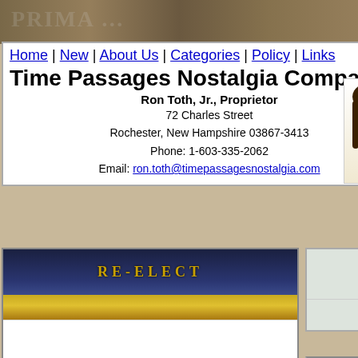Time Passages Nostalgia Company — Ron Toth, Jr., Proprietor — 72 Charles Street, Rochester, New Hampshire 03867-3413 — Phone: 1-603-335-2062 — Email: ron.toth@timepassagesnostalgia.com
Search for: | Select from: | Show:
[Figure (photo): Golden arrow/triangle button image in sidebar]
a569 b3689
[Figure (photo): RE-ELECT political pin back button showing text RE-ELECT on gold and blue background]
Old James Wolco... Political
James Wadsworth  Celluloid  Politi... Repub...
The picture shows a view of this Political Pin back Button. The pi... be from the early 1900s. It pictur... marked as follows:
RE-EL...
The political pin back button me...
Item #d273